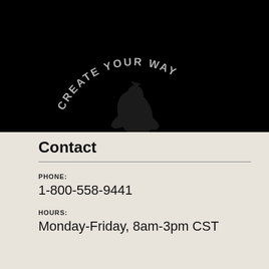[Figure (other): Black banner with arched text reading 'CREATE YOUR WAY' and a watermark bird/logo]
Contact
PHONE:
1-800-558-9441
HOURS:
Monday-Friday, 8am-3pm CST